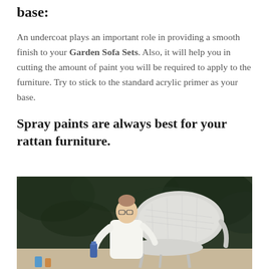base:
An undercoat plays an important role in providing a smooth finish to your Garden Sofa Sets. Also, it will help you in cutting the amount of paint you will be required to apply to the furniture. Try to stick to the standard acrylic primer as your base.
Spray paints are always best for your rattan furniture.
[Figure (photo): A young woman wearing glasses and a white coat spray-painting a wicker/rattan chair outdoors, with dark green foliage in the background.]